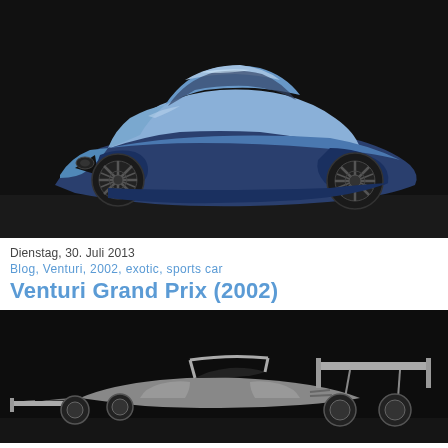[Figure (photo): Blue/silver Venturi concept sports car photographed against a dark background, three-quarter front view, showing sleek aerodynamic body, five-spoke alloy wheels, and distinctive triangular front grille.]
Dienstag, 30. Juli 2013
Blog, Venturi, 2002, exotic, sports car
Venturi Grand Prix (2002)
[Figure (photo): Open-wheel racing car (Venturi Grand Prix) photographed against a dark background, showing the car from a low angle with large rear wing and exposed cockpit structure.]